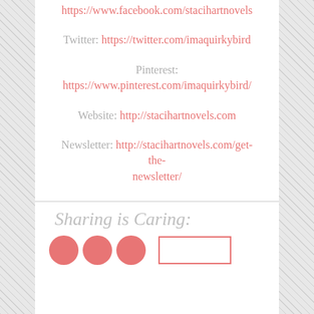https://www.facebook.com/stacihartnovels
Twitter: https://twitter.com/imaquirkybird
Pinterest: https://www.pinterest.com/imaquirkybird/
Website: http://stacihartnovels.com
Newsletter: http://stacihartnovels.com/get-the-newsletter/
Sharing is Caring:
[Figure (other): Social media share buttons: three pink circles and one pink rectangle outline]